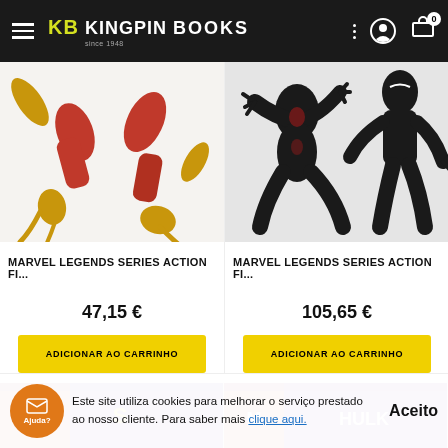KB KINGPIN BOOKS
[Figure (photo): Partial view of a red and gold Marvel Legends action figure (lower body) in a running pose]
[Figure (photo): Partial view of two black symbiote Marvel Legends action figures]
MARVEL LEGENDS SERIES ACTION FI...
MARVEL LEGENDS SERIES ACTION FI...
47,15 €
105,65 €
ADICIONAR AO CARRINHO
ADICIONAR AO CARRINHO
[Figure (photo): Partially visible bottom product card with red/purple Marvel artwork]
[Figure (photo): Partially visible bottom product card with purple Marvel artwork]
Este site utiliza cookies para melhorar o serviço prestado ao nosso cliente. Para saber mais clique aqui.
Aceito